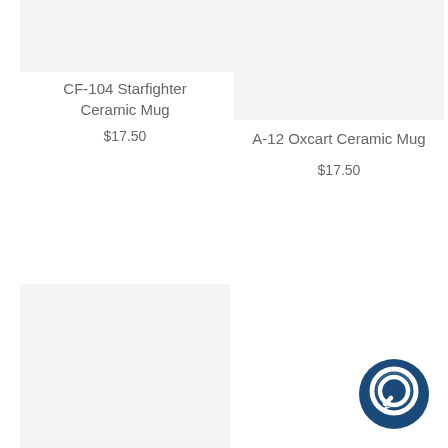[Figure (photo): Product image placeholder for CF-104 Starfighter Ceramic Mug, light gray background]
CF-104 Starfighter Ceramic Mug
$17.50
[Figure (photo): Product image placeholder for A-12 Oxcart Ceramic Mug, light gray background]
A-12 Oxcart Ceramic Mug
$17.50
[Figure (photo): Product image placeholder bottom-left, light gray background]
[Figure (other): Dark blue circular chat/messaging icon in bottom-right area]